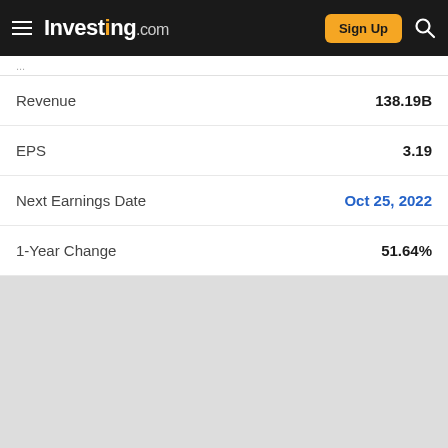Investing.com | Sign Up
|  |  |
| --- | --- |
| Revenue | 138.19B |
| EPS | 3.19 |
| Next Earnings Date | Oct 25, 2022 |
| 1-Year Change | 51.64% |